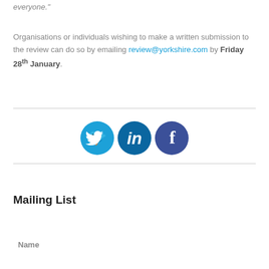everyone."
Organisations or individuals wishing to make a written submission to the review can do so by emailing review@yorkshire.com by Friday 28th January.
[Figure (illustration): Three social media icons in circles: Twitter (light blue), LinkedIn (medium blue), Facebook (dark blue/purple)]
Mailing List
Name